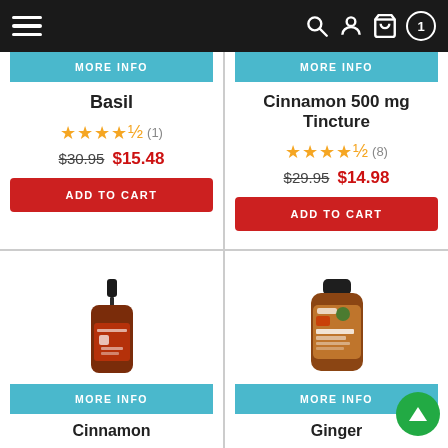Navigation bar with hamburger menu, search, account, cart, and badge (1)
[Figure (screenshot): MORE INFO button (cyan/teal) for Basil product card (top left, partially visible)]
Basil
★★★★☆ (1) $30.95 $15.48
ADD TO CART
[Figure (screenshot): MORE INFO button (cyan/teal) for Cinnamon 500 mg Tincture product card (top right, partially visible)]
Cinnamon 500 mg Tincture
★★★★☆ (8) $29.95 $14.98
ADD TO CART
[Figure (photo): Brown dropper bottle of Cinnamon tincture product]
MORE INFO
Cinnamon
[Figure (photo): Brown small bottle of Ginger essential oil by Dr. Axe brand]
MORE INFO
Ginger